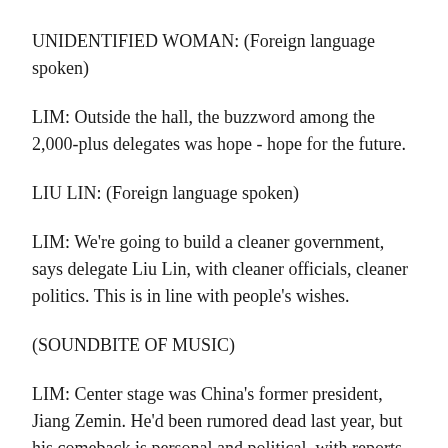UNIDENTIFIED WOMAN: (Foreign language spoken)
LIM: Outside the hall, the buzzword among the 2,000-plus delegates was hope - hope for the future.
LIU LIN: (Foreign language spoken)
LIM: We're going to build a cleaner government, says delegate Liu Lin, with cleaner officials, cleaner politics. This is in line with people's wishes.
(SOUNDBITE OF MUSIC)
LIM: Center stage was China's former president, Jiang Zemin. He'd been rumored dead last year, but his comeback is personal and political, with reports he's stacking the new leadership team with his supporters. That could stymie